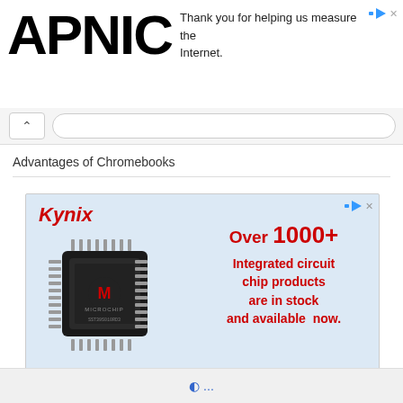APNIC — Thank you for helping us measure the Internet.
Advantages of Chromebooks
[Figure (screenshot): Kynix advertisement banner with a Microchip brand IC chip image on a light blue background. Red italic Kynix logo in top left. Text reads: Over 1000+ Integrated circuit chip products are in stock and available now.]
...